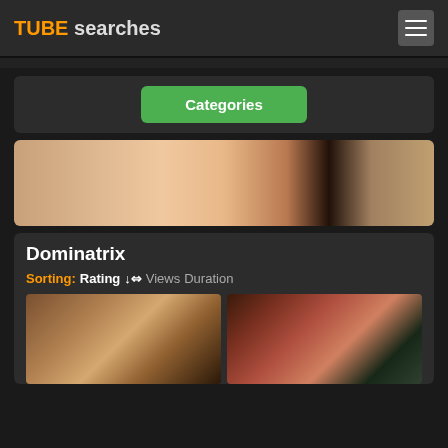TUBE searches
Categories
[Figure (photo): Banner image showing adult content]
Dominatrix
Sorting: Rating ↓= Views Duration
[Figure (photo): Two thumbnail images of adult video content]